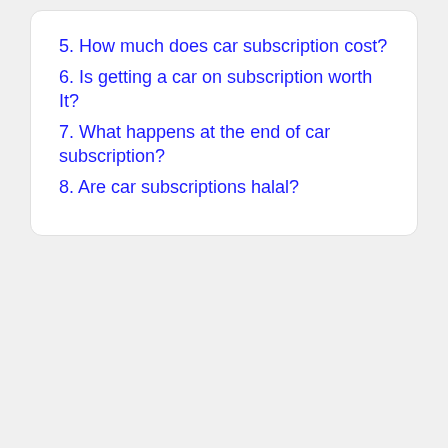5. How much does car subscription cost?
6. Is getting a car on subscription worth It?
7. What happens at the end of car subscription?
8. Are car subscriptions halal?